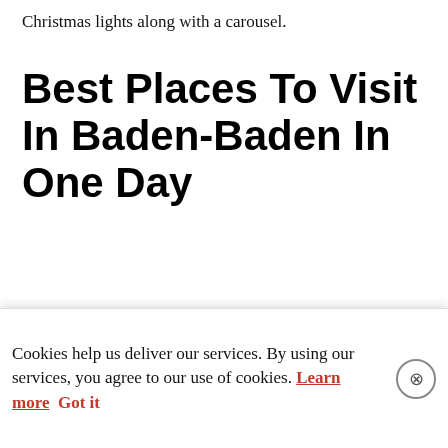Christmas lights along with a carousel.
Best Places To Visit In Baden-Baden In One Day
Only have one day in Baden-Baden? What a shame! But it’s ok, it’s still worth going to Baden-Baden if you only have one day whether you are on a day trip from Strasbourg to Baden-Baden or driving elsewhere in Europe.
Cookies help us deliver our services. By using our services, you agree to our use of cookies. Learn more  Got it